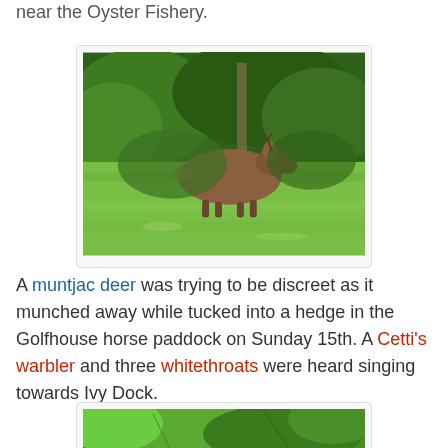near the Oyster Fishery.
[Figure (photo): A muntjac deer resting in grass near a hedge with green trees in the background]
A muntjac deer was trying to be discreet as it munched away while tucked into a hedge in the Golfhouse horse paddock on Sunday 15th. A Cetti's warbler and three whitethroats were heard singing towards Ivy Dock.
[Figure (photo): Partial photo of green leaves, cropped at bottom of page]